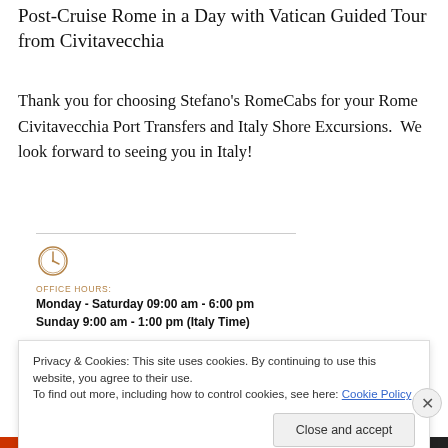Post-Cruise Rome in a Day with Vatican Guided Tour from Civitavecchia
Thank you for choosing Stefano’s RomeCabs for your Rome Civitavecchia Port Transfers and Italy Shore Excursions.  We look forward to seeing you in Italy!
OFFICE HOURS:
Monday - Saturday 09:00 am - 6:00 pm
Sunday 9:00 am - 1:00 pm (Italy Time)
E-MAIL:
Privacy & Cookies: This site uses cookies. By continuing to use this website, you agree to their use.
To find out more, including how to control cookies, see here: Cookie Policy